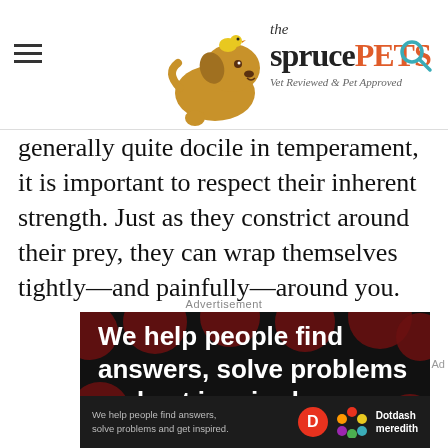the spruce PETS — Vet Reviewed & Pet Approved
generally quite docile in temperament, it is important to respect their inherent strength. Just as they constrict around their prey, they can wrap themselves tightly—and painfully—around you.
Advertisement
[Figure (other): Advertisement banner reading 'We help people find answers, solve problems and get inspired.' with dark background and red dot pattern, followed by Dotdash Meredith branding bar at bottom.]